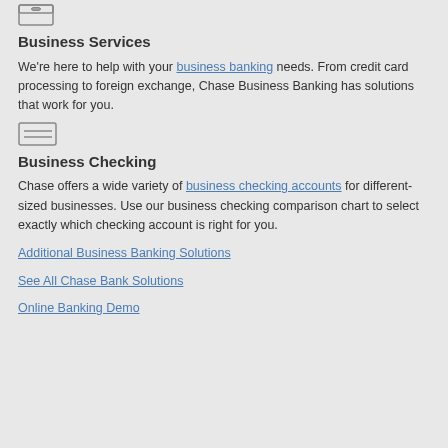[Figure (illustration): Small icon of a filing cabinet or inbox tray with a minus/dash symbol inside, partially cut off at top]
Business Services
We're here to help with your business banking needs. From credit card processing to foreign exchange, Chase Business Banking has solutions that work for you.
[Figure (illustration): Small rectangular icon resembling a card or document with two horizontal lines inside]
Business Checking
Chase offers a wide variety of business checking accounts for different-sized businesses. Use our business checking comparison chart to select exactly which checking account is right for you.
Additional Business Banking Solutions
See All Chase Bank Solutions
Online Banking Demo